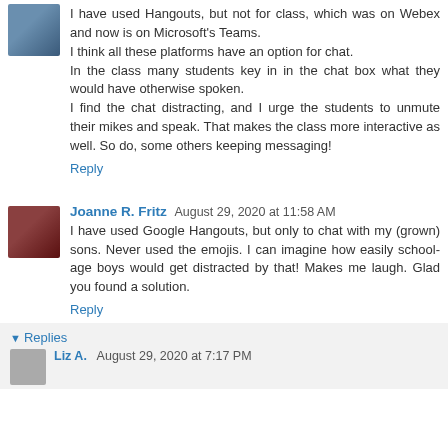I have used Hangouts, but not for class, which was on Webex and now is on Microsoft's Teams. I think all these platforms have an option for chat. In the class many students key in in the chat box what they would have otherwise spoken. I find the chat distracting, and I urge the students to unmute their mikes and speak. That makes the class more interactive as well. So do, some others keeping messaging!
Reply
Joanne R. Fritz  August 29, 2020 at 11:58 AM
I have used Google Hangouts, but only to chat with my (grown) sons. Never used the emojis. I can imagine how easily school-age boys would get distracted by that! Makes me laugh. Glad you found a solution.
Reply
Replies
Liz A.  August 29, 2020 at 7:17 PM